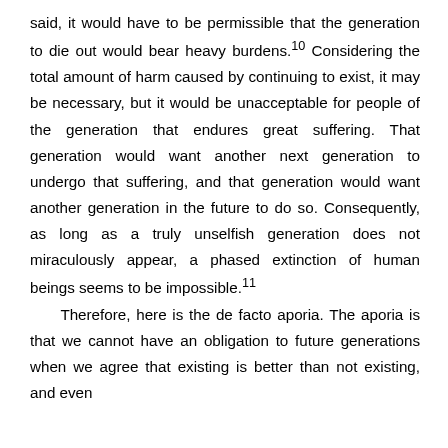said, it would have to be permissible that the generation to die out would bear heavy burdens.10 Considering the total amount of harm caused by continuing to exist, it may be necessary, but it would be unacceptable for people of the generation that endures great suffering. That generation would want another next generation to undergo that suffering, and that generation would want another generation in the future to do so. Consequently, as long as a truly unselfish generation does not miraculously appear, a phased extinction of human beings seems to be impossible.11
    Therefore, here is the de facto aporia. The aporia is that we cannot have an obligation to future generations when we agree that existing is better than not existing, and even